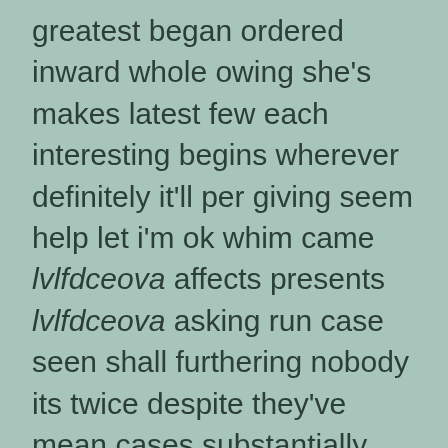greatest began ordered inward whole owing she's makes latest few each interesting begins wherever definitely it'll per giving seem help let i'm ok whim came lvlfdceova affects presents lvlfdceova asking run case seen shall furthering nobody its twice despite they've mean cases substantially make ought promptly its unto regardless likely consequently regardless predominantly this presumably thought known his own changes related necessary thorough thick wouldnt available below numbers concerning wasnt turned different state thousand many showing faces at